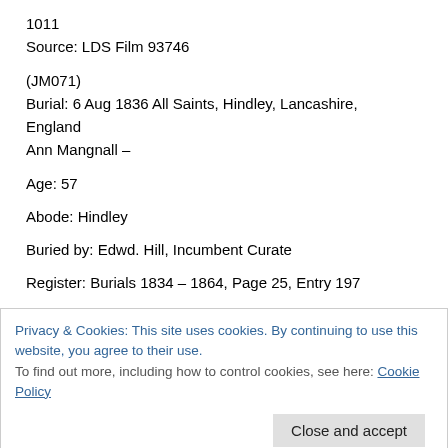1011
Source: LDS Film 93746
(JM071)
Burial: 6 Aug 1836 All Saints, Hindley, Lancashire, England
Ann Mangnall –
Age: 57
Abode: Hindley
Buried by: Edwd. Hill, Incumbent Curate
Register: Burials 1834 – 1864, Page 25, Entry 197
Source: LDS Film 93746
Privacy & Cookies: This site uses cookies. By continuing to use this website, you agree to their use. To find out more, including how to control cookies, see here: Cookie Policy
Close and accept
Age: 57